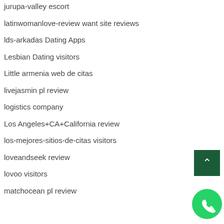jurupa-valley escort
latinwomanlove-review want site reviews
lds-arkadas Dating Apps
Lesbian Dating visitors
Little armenia web de citas
livejasmin pl review
logistics company
Los Angeles+CA+California review
los-mejores-sitios-de-citas visitors
loveandseek review
lovoo visitors
matchocean pl review